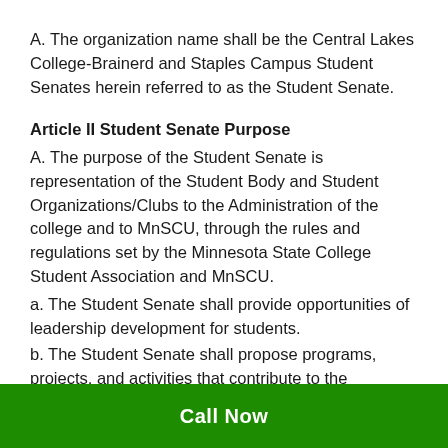A. The organization name shall be the Central Lakes College-Brainerd and Staples Campus Student Senates herein referred to as the Student Senate.
Article II Student Senate Purpose
A. The purpose of the Student Senate is representation of the Student Body and Student Organizations/Clubs to the Administration of the college and to MnSCU, through the rules and regulations set by the Minnesota State College Student Association and MnSCU.
a. The Student Senate shall provide opportunities of leadership development for students.
b. The Student Senate shall propose programs, projects, and activities that contribute to the educational, intellectual, social, physical, civic, and
Call Now